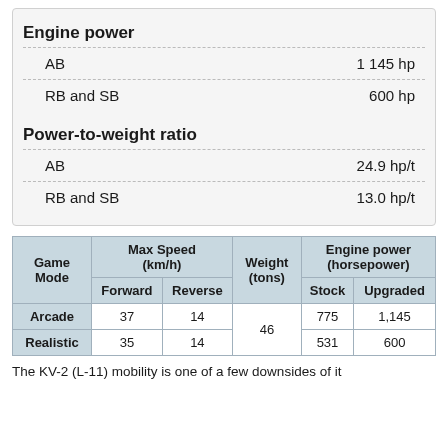Engine power
|  | Value |
| --- | --- |
| AB | 1 145 hp |
| RB and SB | 600 hp |
Power-to-weight ratio
|  | Value |
| --- | --- |
| AB | 24.9 hp/t |
| RB and SB | 13.0 hp/t |
| Game Mode | Max Speed (km/h) Forward | Max Speed (km/h) Reverse | Weight (tons) | Engine power (horsepower) Stock | Engine power (horsepower) Upgraded |
| --- | --- | --- | --- | --- | --- |
| Arcade | 37 | 14 | 46 | 775 | 1,145 |
| Realistic | 35 | 14 | 46 | 531 | 600 |
The KV-2 (L-11) mobility is one of a few downsides of it...